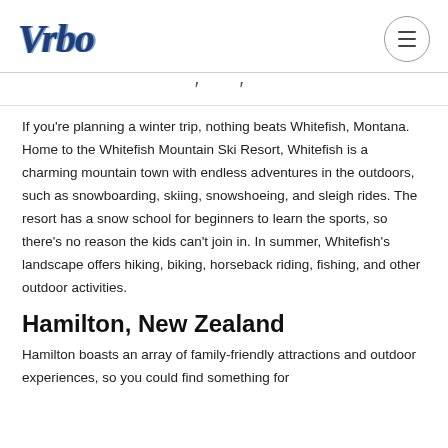Vrbo
If you're planning a winter trip, nothing beats Whitefish, Montana. Home to the Whitefish Mountain Ski Resort, Whitefish is a charming mountain town with endless adventures in the outdoors, such as snowboarding, skiing, snowshoeing, and sleigh rides. The resort has a snow school for beginners to learn the sports, so there's no reason the kids can't join in. In summer, Whitefish's landscape offers hiking, biking, horseback riding, fishing, and other outdoor activities.
Hamilton, New Zealand
Hamilton boasts an array of family-friendly attractions and outdoor experiences, so you could find something for